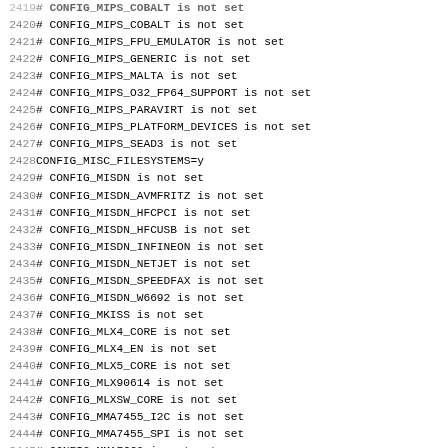2419 # CONFIG_MIPS_COBALT is not set (partial top)
2420 # CONFIG_MIPS_COBALT is not set
2421 # CONFIG_MIPS_FPU_EMULATOR is not set
2422 # CONFIG_MIPS_GENERIC is not set
2423 # CONFIG_MIPS_MALTA is not set
2424 # CONFIG_MIPS_O32_FP64_SUPPORT is not set
2425 # CONFIG_MIPS_PARAVIRT is not set
2426 # CONFIG_MIPS_PLATFORM_DEVICES is not set
2427 # CONFIG_MIPS_SEAD3 is not set
2428 CONFIG_MISC_FILESYSTEMS=y
2429 # CONFIG_MISDN is not set
2430 # CONFIG_MISDN_AVMFRITZ is not set
2431 # CONFIG_MISDN_HFCPCI is not set
2432 # CONFIG_MISDN_HFCUSB is not set
2433 # CONFIG_MISDN_INFINEON is not set
2434 # CONFIG_MISDN_NETJET is not set
2435 # CONFIG_MISDN_SPEEDFAX is not set
2436 # CONFIG_MISDN_W6692 is not set
2437 # CONFIG_MKISS is not set
2438 # CONFIG_MLX4_CORE is not set
2439 # CONFIG_MLX4_EN is not set
2440 # CONFIG_MLX5_CORE is not set
2441 # CONFIG_MLX90614 is not set
2442 # CONFIG_MLXSW_CORE is not set
2443 # CONFIG_MMA7455_I2C is not set
2444 # CONFIG_MMA7455_SPI is not set
2445 # CONFIG_MMA7660 is not set
2446 # CONFIG_MMA8452 is not set
2447 # CONFIG_MMA9551 is not set
2448 # CONFIG_MMA9553 is not set
2449 # CONFIG_MMC is not set
2450 # CONFIG_MMC35240 is not set
2451 # CONFIG_MMC_ARMMMCT is not set (partial bottom)